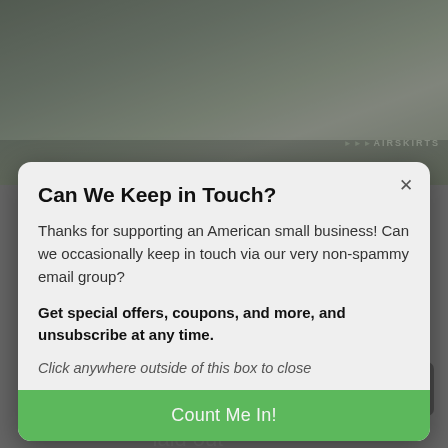[Figure (screenshot): Background showing a military/utility vehicle (appears to be a tracked RV or expedition vehicle) on a road, with an AirSkirts logo watermark in the bottom right.]
Can We Keep in Touch?
Thanks for supporting an American small business! Can we occasionally keep in touch via our very non-spammy email group?
Get special offers, coupons, and more, and unsubscribe at any time.
Click anywhere outside of this box to close
Count Me In!
AirSkirts' design is deceptively straightforward: AirSkirts tubes are laid out